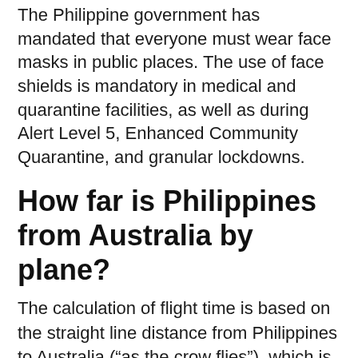The Philippine government has mandated that everyone must wear face masks in public places. The use of face shields is mandatory in medical and quarantine facilities, as well as during Alert Level 5, Enhanced Community Quarantine, and granular lockdowns.
How far is Philippines from Australia by plane?
The calculation of flight time is based on the straight line distance from Philippines to Australia (“as the crow flies”), which is about 2,847 miles or 4 582 kilometers. Your trip begins in the Philippines.